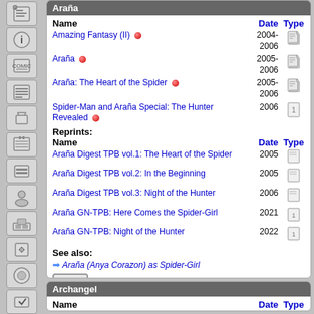Araña
| Name | Date | Type |
| --- | --- | --- |
| Amazing Fantasy (II) 🔴 | 2004-2006 | 📋 |
| Araña 🔴 | 2005-2006 | 📋 |
| Araña: The Heart of the Spider 🔴 | 2005-2006 | 📋 |
| Spider-Man and Araña Special: The Hunter Revealed 🔴 | 2006 | 📄 |
Reprints:
| Name | Date | Type |
| --- | --- | --- |
| Araña Digest TPB vol.1: The Heart of the Spider | 2005 | 📄 |
| Araña Digest TPB vol.2: In the Beginning | 2005 | 📄 |
| Araña Digest TPB vol.3: Night of the Hunter | 2006 | 📄 |
| Araña GN-TPB: Here Comes the Spider-Girl | 2021 | 📄 |
| Araña GN-TPB: Night of the Hunter | 2022 | 📄 |
See also:
Araña (Anya Corazon) as Spider-Girl
Archangel
| Name | Date | Type |
| --- | --- | --- |